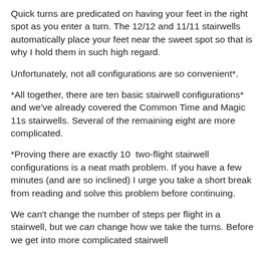Quick turns are predicated on having your feet in the right spot as you enter a turn. The 12/12 and 11/11 stairwells automatically place your feet near the sweet spot so that is why I hold them in such high regard.
Unfortunately, not all configurations are so convenient*.
*All together, there are ten basic stairwell configurations* and we've already covered the Common Time and Magic 11s stairwells. Several of the remaining eight are more complicated.
*Proving there are exactly 10  two-flight stairwell configurations is a neat math problem. If you have a few minutes (and are so inclined) I urge you take a short break from reading and solve this problem before continuing.
We can't change the number of steps per flight in a stairwell, but we can change how we take the turns. Before we get into more complicated stairwell